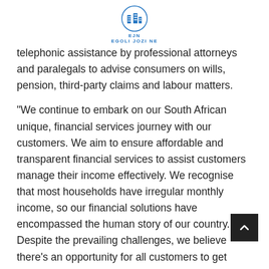EJN EGOLI JOZI NE
telephonic assistance by professional attorneys and paralegals to advise consumers on wills, pension, third-party claims and labour matters.
“We continue to embark on our South African unique, financial services journey with our customers. We aim to ensure affordable and transparent financial services to assist customers manage their income effectively. We recognise that most households have irregular monthly income, so our financial solutions have encompassed the human story of our country.  Despite the prevailing challenges, we believe there’s an opportunity for all customers to get maximum value from their banking relationship.” concludes Potwana.
INFO SUPPLIED BY FNB.